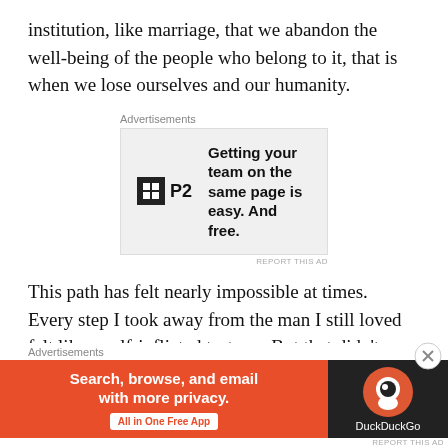institution, like marriage, that we abandon the well-being of the people who belong to it, that is when we lose ourselves and our humanity.
[Figure (other): Advertisement banner: P2 logo with text 'Getting your team on the same page is easy. And free.']
This path has felt nearly impossible at times. Every step I took away from the man I still loved felt like a self-inflicted torture. But that didn’t make it less right.
Here’s one of the things I have learned: almost no one just “throws away” a marriage. No one dissolves the most important relationship in their life on a whim
[Figure (other): Advertisement banner: DuckDuckGo ad with orange background, text 'Search, browse, and email with more privacy. All in One Free App' and DuckDuckGo logo on dark background.]